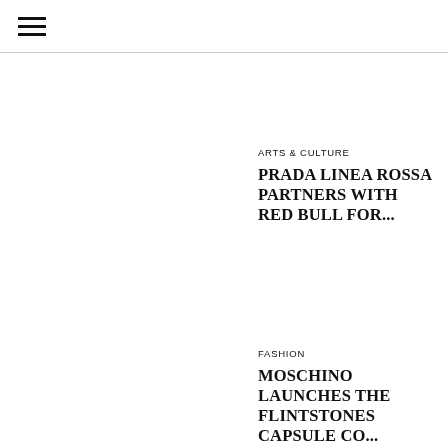≡
ARTS & CULTURE
PRADA LINEA ROSSA PARTNERS WITH RED BULL FOR...
FASHION
MOSCHINO LAUNCHES THE FLINTSTONES CAPSULE CO...
ARTS & CULTURE